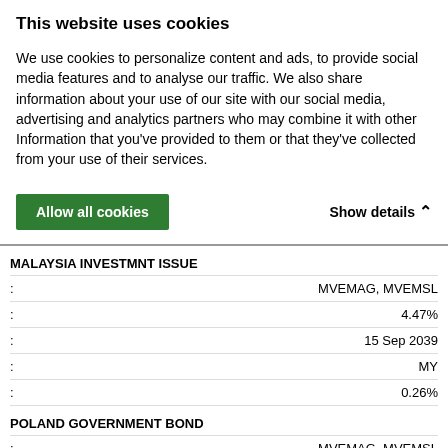This website uses cookies
We use cookies to personalize content and ads, to provide social media features and to analyse our traffic. We also share information about your use of our site with our social media, advertising and analytics partners who may combine it with other Information that you've provided to them or that they've collected from your use of their services.
MALAYSIA INVESTMNT ISSUE
|  |  |
| --- | --- |
| : | MVEMAG, MVEMSL |
| : | 4.47% |
| : | 15 Sep 2039 |
| : | MY |
| : | 0.26% |
POLAND GOVERNMENT BOND
|  |  |
| --- | --- |
| : | MVEMAG, MVEMSL |
| : | 2.75% |
| : | 25 Oct 2030 |